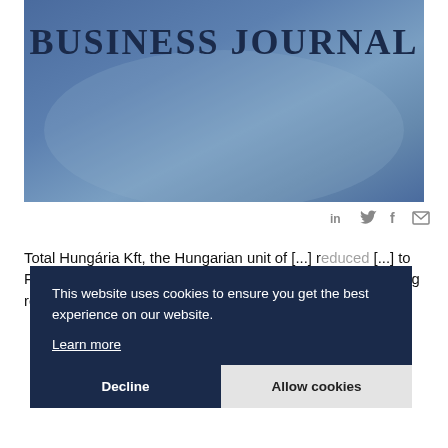[Figure (illustration): Blue gradient banner image with 'BUSINESS JOURNAL' text in dark navy serif bold letters at the top]
Social share icons: LinkedIn, Twitter, Facebook, Email
Total Hungária Kft, the Hungarian unit of [...] reduced [...] to Ft 2.7 billion [...] Ft 4.2 billion, business daily Napi Gazdaság reported on Tuesday, citing data from the Company Court.
This website uses cookies to ensure you get the best experience on our website.
Learn more
Decline   Allow cookies